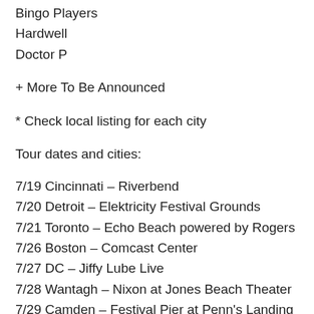Bingo Players
Hardwell
Doctor P
+ More To Be Announced
* Check local listing for each city
Tour dates and cities:
7/19 Cincinnati – Riverbend
7/20 Detroit – Elektricity Festival Grounds
7/21 Toronto – Echo Beach powered by Rogers
7/26 Boston – Comcast Center
7/27 DC – Jiffy Lube Live
7/28 Wantagh – Nixon at Jones Beach Theater
7/29 Camden – Festival Pier at Penn's Landing